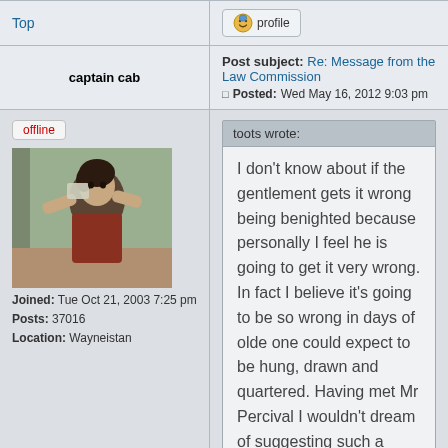Top
[Figure (illustration): Profile button with user icon]
captain cab
Post subject: Re: Message from the Law Commission  Posted: Wed May 16, 2012 9:03 pm
[Figure (photo): Avatar photo of a young person holding something up to their face, dark hair, indoor background]
offline
Joined: Tue Oct 21, 2003 7:25 pm
Posts: 37016
Location: Wayneistan
toots wrote:
I don't know about if the gentlement gets it wrong being benighted because personally I feel he is going to get it very wrong. In fact I believe it's going to be so wrong in days of olde one could expect to be hung, drawn and quartered. Having met Mr Percival I wouldn't dream of suggesting such a punishment and like you I dearly hope he has a sense of humour :)
didnt the axeman get a shilling off the